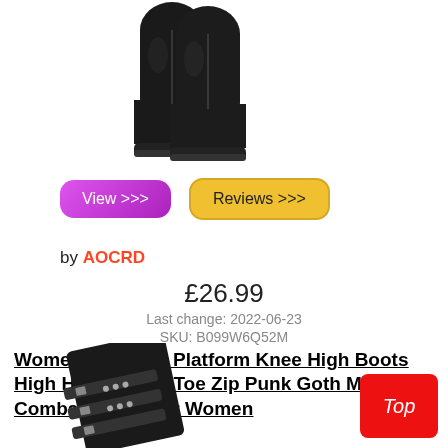[Figure (photo): Black chunky platform ankle boots, side view, against white background]
View >>>
Reviews >>>
by AOCRD
£26.99
Last change: 2022-06-23
SKU: B099W6Q52M
Womens Chunky Platform Knee High Boots High Heel Round-Toe Zip Punk Goth Mid Calf Combat Boots For Women
[Figure (photo): Black mid-calf combat boot with buckle straps, partial view from bottom of page]
Top